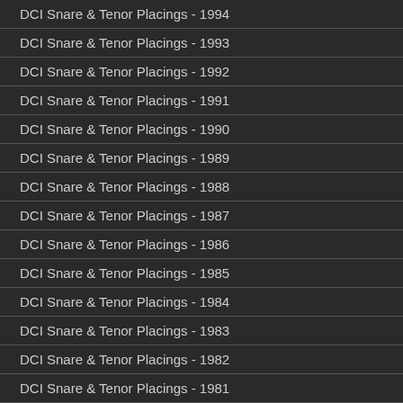DCI Snare & Tenor Placings - 1994
DCI Snare & Tenor Placings - 1993
DCI Snare & Tenor Placings - 1992
DCI Snare & Tenor Placings - 1991
DCI Snare & Tenor Placings - 1990
DCI Snare & Tenor Placings - 1989
DCI Snare & Tenor Placings - 1988
DCI Snare & Tenor Placings - 1987
DCI Snare & Tenor Placings - 1986
DCI Snare & Tenor Placings - 1985
DCI Snare & Tenor Placings - 1984
DCI Snare & Tenor Placings - 1983
DCI Snare & Tenor Placings - 1982
DCI Snare & Tenor Placings - 1981
DCI Snare & Tenor Placings - 1980
DCI Snare & Tenor Placings - 1979
DCI Snare & Tenor Placings - 1978